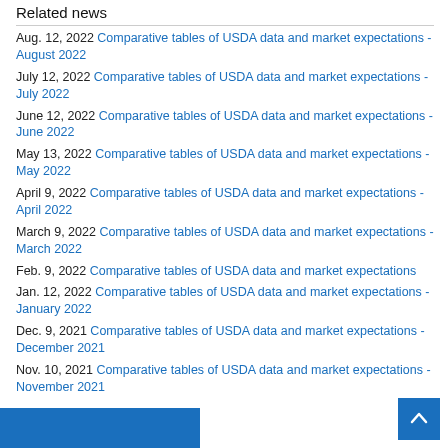Related news
Aug. 12, 2022 Comparative tables of USDA data and market expectations - August 2022
July 12, 2022 Comparative tables of USDA data and market expectations - July 2022
June 12, 2022 Comparative tables of USDA data and market expectations - June 2022
May 13, 2022 Comparative tables of USDA data and market expectations - May 2022
April 9, 2022 Comparative tables of USDA data and market expectations - April 2022
March 9, 2022 Comparative tables of USDA data and market expectations - March 2022
Feb. 9, 2022 Comparative tables of USDA data and market expectations
Jan. 12, 2022 Comparative tables of USDA data and market expectations - January 2022
Dec. 9, 2021 Comparative tables of USDA data and market expectations - December 2021
Nov. 10, 2021 Comparative tables of USDA data and market expectations - November 2021